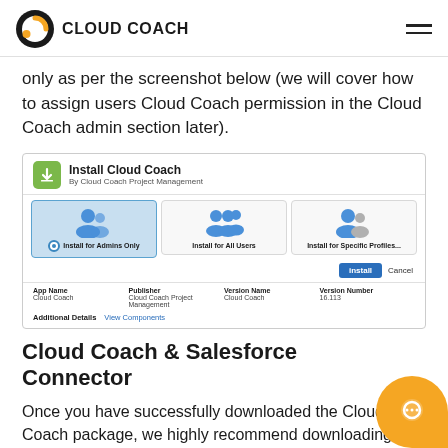CLOUD COACH
only as per the screenshot below (we will cover how to assign users Cloud Coach permission in the Cloud Coach admin section later).
[Figure (screenshot): Install Cloud Coach app dialog showing three installation options: Install for Admins Only (selected/highlighted), Install for All Users, and Install for Specific Profiles. Below shows app details: App Name: Cloud Coach, Publisher: Cloud Coach Project Management, Version Name: Cloud Coach, Version Number: 16.113. Additional Details and View Components links shown at bottom.]
Cloud Coach & Salesforce Connector
Once you have successfully downloaded the Cloud Coach package, we highly recommend downloading